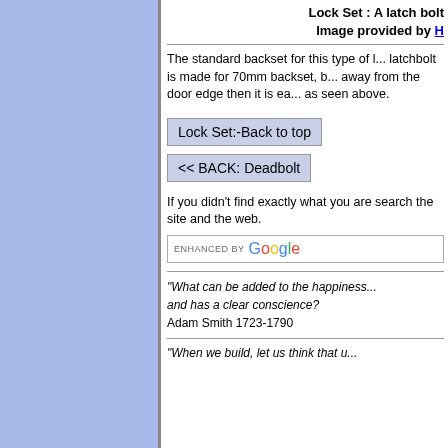Lock Set : A latch bolt Image provided by H
The standard backset for this type of latchbolt is made for 70mm backset, b... away from the door edge then it is ea... as seen above.
Lock Set:-Back to top
<< BACK: Deadbolt
If you didn't find exactly what you are search the site and the web.
[Figure (screenshot): Google search box with 'ENHANCED BY Google' text]
"What can be added to the happiness... and has a clear conscience? Adam Smith 1723-1790
"When we build, let us think that u...